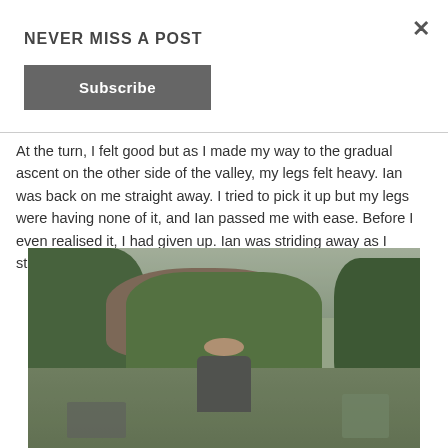×
NEVER MISS A POST
Subscribe
At the turn, I felt good but as I made my way to the gradual ascent on the other side of the valley, my legs felt heavy. Ian was back on me straight away. I tried to pick it up but my legs were having none of it, and Ian passed me with ease. Before I even realised it, I had given up. Ian was striding away as I struggled.
[Figure (photo): Outdoor scene showing a hillside with trees, rock face, and figures of runners on a path in a valley setting]